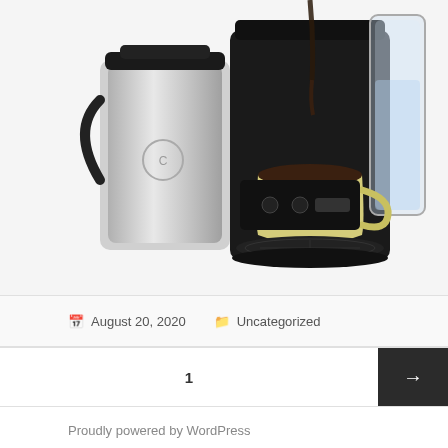[Figure (photo): A Keurig coffee maker with a stainless steel thermal carafe on the left and a cream/yellow ceramic mug with the Keurig K logo being filled with coffee, sitting on a black drip tray. A glass water reservoir is visible on the right side.]
August 20, 2020   Uncategorized
1
Proudly powered by WordPress